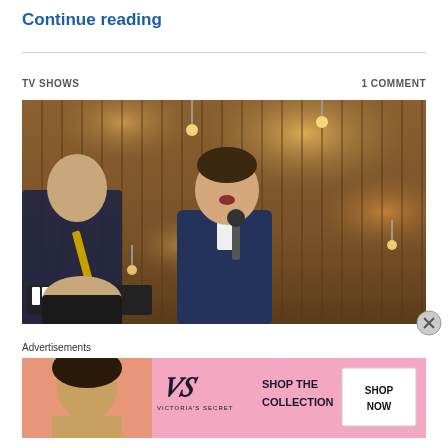Continue reading
TV SHOWS
1 COMMENT
[Figure (photo): A man in a blue suit singing into a microphone on a stage with warm ambient lighting and a decorative rope/chain backdrop. Another musician is partially visible on the left.]
Advertisements
[Figure (other): Victoria's Secret advertisement banner with pink background showing a woman and text: SHOP THE COLLECTION with a SHOP NOW button]